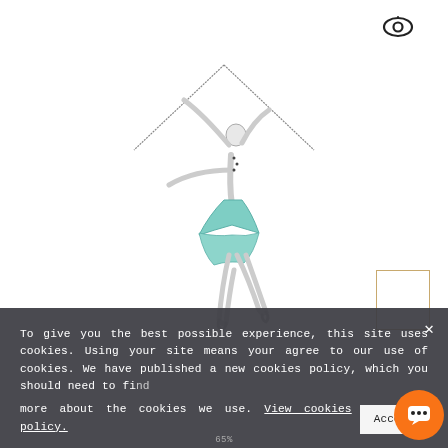[Figure (illustration): Eye/visibility icon in outline style, positioned top right corner]
[Figure (photo): Silver ballerina dancer necklace pendant with turquoise/aqua colored enamel skirt and a delicate chain, photographed on white background]
To give you the best possible experience, this site uses cookies. Using your site means your agree to our use of cookies. We have published a new cookies policy, which you should need to find more about the cookies we use. View cookies policy.
Accept